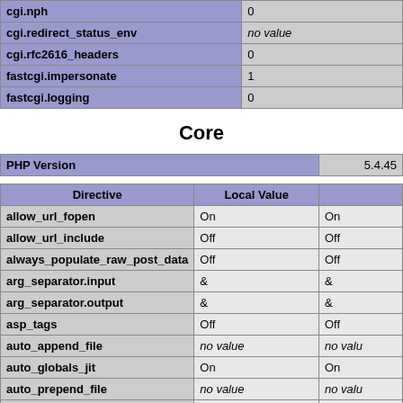|  |  |
| --- | --- |
| cgi.nph | 0 |
| cgi.redirect_status_env | no value |
| cgi.rfc2616_headers | 0 |
| fastcgi.impersonate | 1 |
| fastcgi.logging | 0 |
Core
| PHP Version | 5.4.45 |
| --- | --- |
| Directive | Local Value |  |
| --- | --- | --- |
| allow_url_fopen | On | On |
| allow_url_include | Off | Off |
| always_populate_raw_post_data | Off | Off |
| arg_separator.input | & | & |
| arg_separator.output | & | & |
| asp_tags | Off | Off |
| auto_append_file | no value | no valu |
| auto_globals_jit | On | On |
| auto_prepend_file | no value | no valu |
| browscap | no value | no valu |